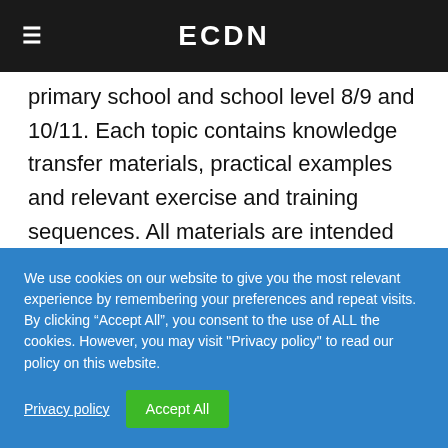ECDN
primary school and school level 8/9 and 10/11. Each topic contains knowledge transfer materials, practical examples and relevant exercise and training sequences. All materials are intended for use in the classroom and can be downloaded free of charge. There is also a picture folder with the title “I want! Need? Do I have. Consumer education for children ”, which can be used in different ways in kindergarten
We use cookies on our website to give you the most relevant experience by remembering your preferences and repeat visits. By clicking “Accept All”, you consent to the use of ALL the cookies. However, you may visit "Privacy policy" to read our policy on this website.
Privacy policy
Accept All